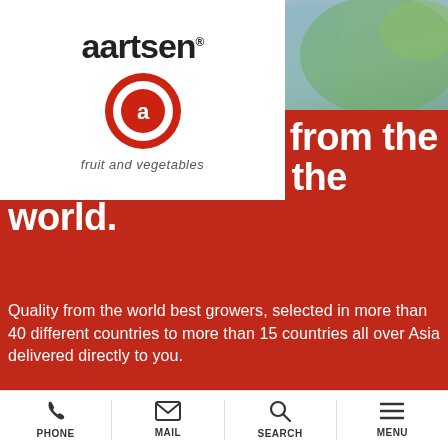[Figure (photo): Background photo of vegetables/produce with blue and green tones, partially covered by white logo box]
[Figure (logo): Aartsen fruit and vegetables logo: black text 'aartsen' with registered trademark, red circle with white 'a' inside, italic text 'fruit and vegetables' below]
We supply Asia from the best growers in the world.
Quality from the world best growers, selected in more than 40 different countries to more than 15 countries all over Asia delivered directly to you.
This is nonstopfresh.
PHONE   MAIL   SEARCH   MENU